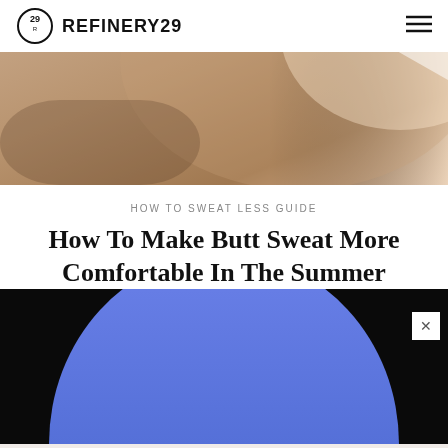REFINERY29
[Figure (photo): Close-up photo of a person's back/shoulder area with skin, warm tones]
HOW TO SWEAT LESS GUIDE
How To Make Butt Sweat More Comfortable In The Summer
CORY STIEG    AUGUST 23, 2022 7:15 AM
[Figure (photo): Dark background with a large blue semi-circle/arch shape, advertisement overlay with close button]